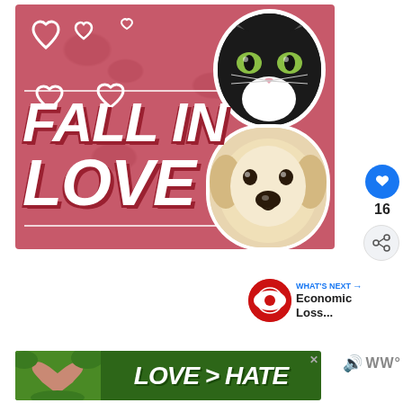[Figure (illustration): Advertisement banner with pink/red background featuring 'FALL IN LOVE' text in large white italic font, heart outlines scattered around, a black and white cat photo in upper right circle, and a white fluffy dog photo in lower right. Close button X in corner.]
[Figure (illustration): Blue circular like/heart button (Facebook style)]
16
[Figure (illustration): Share button (circular with share icon)]
[Figure (illustration): WHAT'S NEXT → Economic Loss... thumbnail with circular CBS News logo]
[Figure (illustration): Bottom advertisement banner with green background showing hands forming a heart shape and text 'LOVE > HATE' in large white italic font. Close button X in corner.]